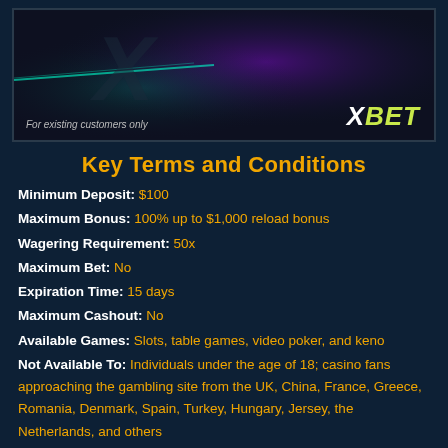[Figure (screenshot): XBet casino promotional banner with dark purple/teal background, neon green accent line, text 'For existing customers only' bottom left, and XBET logo in yellow-green bottom right]
Key Terms and Conditions
Minimum Deposit: $100
Maximum Bonus: 100% up to $1,000 reload bonus
Wagering Requirement: 50x
Maximum Bet: No
Expiration Time: 15 days
Maximum Cashout: No
Available Games: Slots, table games, video poker, and keno
Not Available To: Individuals under the age of 18; casino fans approaching the gambling site from the UK, China, France, Greece, Romania, Denmark, Spain, Turkey, Hungary, Jersey, the Netherlands, and others
CLAIM XBET CASINO BONUS
Best Bonuses